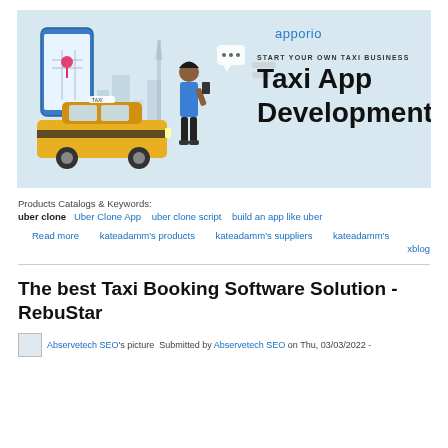[Figure (illustration): Apporio taxi app development advertisement banner with taxi illustration, woman with phone, location pin, and text 'START YOUR OWN TAXI BUSINESS Taxi App Development']
Products Catalogs & Keywords: uber clone  Uber Clone App  uber clone script  build an app like uber
Read more  kateadamm's products  kateadamm's suppliers  kateadamm's xblog
The best Taxi Booking Software Solution - RebuStar
Abservetech SEO's picture Submitted by Abservetech SEO on Thu, 03/03/2022 -